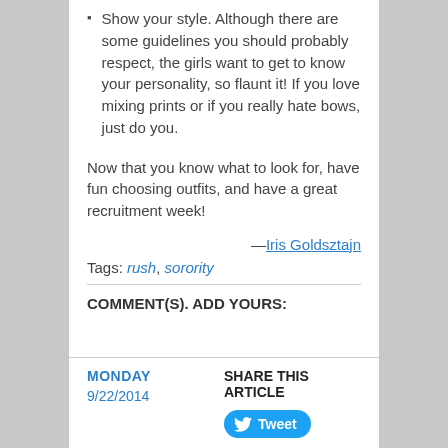Show your style. Although there are some guidelines you should probably respect, the girls want to get to know your personality, so flaunt it! If you love mixing prints or if you really hate bows, just do you.
Now that you know what to look for, have fun choosing outfits, and have a great recruitment week!
—Iris Goldsztajn
Tags: rush, sorority
COMMENT(S). ADD YOURS:
MONDAY 9/22/2014 | SHARE THIS ARTICLE | Tweet